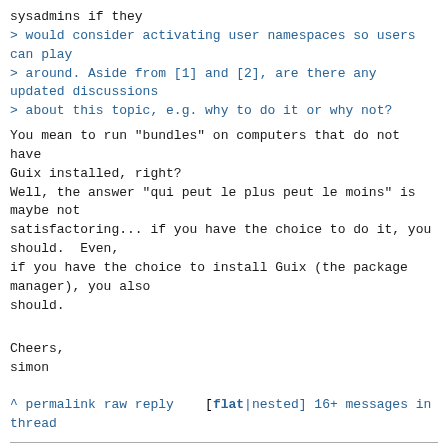sysadmins if they
> would consider activating user namespaces so users can play
> around. Aside from [1] and [2], are there any updated discussions
> about this topic, e.g. why to do it or why not?
You mean to run "bundles" on computers that do not have Guix installed, right?
Well, the answer "qui peut le plus peut le moins" is maybe not
satisfactoring... if you have the choice to do it, you should.  Even,
if you have the choice to install Guix (the package manager), you also
should.
Cheers,
simon
^ permalink raw reply   [flat|nested] 16+ messages in thread
* Re: Introducing Guix to HPC at my institution
  2021-03-15 13:47  ` zimoun
@ 2021-03-16  1:54     ` Sébastien Lerique
  2021-03-16  8:06     ` zimoun